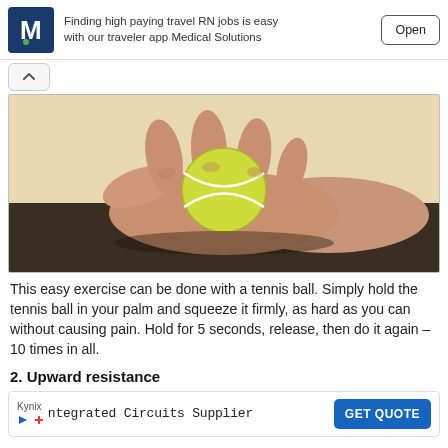[Figure (infographic): Advertisement banner: Medical Solutions logo (white M on dark blue background with green dot), text 'Finding high paying travel RN jobs is easy with our traveler app Medical Solutions', and an 'Open' button]
[Figure (photo): A hand squeezing a yellow-green tennis ball, resting on a dark surface against a light beige background]
This easy exercise can be done with a tennis ball. Simply hold the tennis ball in your palm and squeeze it firmly, as hard as you can without causing pain. Hold for 5 seconds, release, then do it again – 10 times in all.
2. Upward resistance
[Figure (infographic): Advertisement: Kynix logo with play button icon, text 'ntegrated Circuits Supplier', and a blue 'GET QUOTE' button]